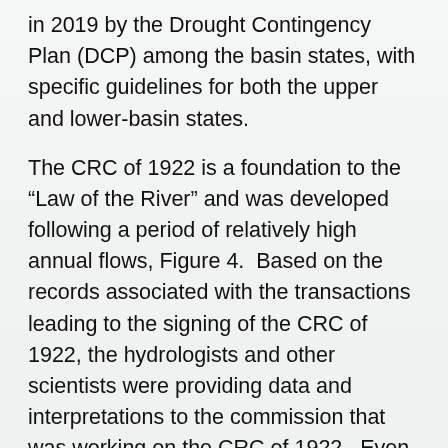in 2019 by the Drought Contingency Plan (DCP) among the basin states, with specific guidelines for both the upper and lower-basin states.
The CRC of 1922 is a foundation to the “Law of the River” and was developed following a period of relatively high annual flows, Figure 4.  Based on the records associated with the transactions leading to the signing of the CRC of 1922, the hydrologists and other scientists were providing data and interpretations to the commission that was working on the CRC of 1922.  Even though these hydrologists and scientists did not have the technological capabilities that are available today, they did an amazingly good job.  There is evidence that the data was presented to commission negotiators showing that allocating 16 maf (plus the future allocation to Mexico for delivery) was more than the 10 year-average for much of the timespan of the available data.  Nevertheless, the operational base of Colorado River water allocation was